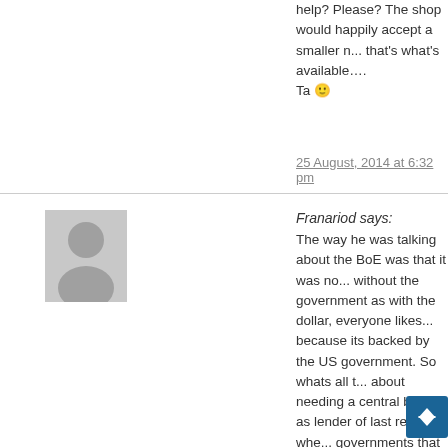help? Please? The shop would happily accept a smaller n... that's what's available….
Ta 🙂
25 August, 2014 at 6:32 pm
[Figure (illustration): Default user avatar placeholder - grey silhouette of a person]
Franariod says:
The way he was talking about the BoE was that it was no... without the government as with the dollar, everyone likes... because its backed by the US government. So whats all t... about needing a central bank as lender of last resort whe... governments that are the lenders of last resort.
25 August, 2014 at 6:36 pm
[Figure (illustration): Default user avatar placeholder - grey silhouette of a person]
McTim says:
Had a blast at the Leith mini-festival on Saturday. Reassu... lady with her two boys about the currency and that the No... is just bluffing and why they can't afford to reject a CU for... Yes vote. Filmed Chris Law and his Spirit of Independenc... engine (what a beautiful thing it is) and the interview is or... youtube channel Reekie Auld. There you'll also find vid... Calton Centre panel from the same afternoon and ... before my camcorder's battery ran out. I also film...